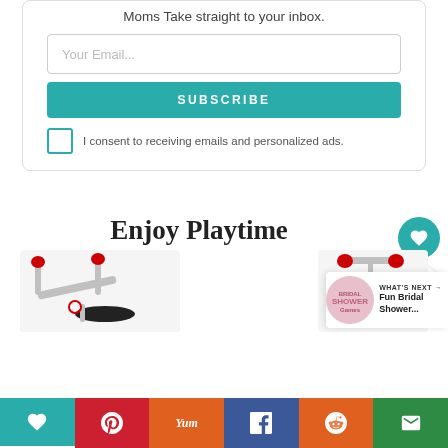Moms Take straight to your inbox.
[Figure (screenshot): Email input field with placeholder text 'Your Email...']
[Figure (screenshot): Teal SUBSCRIBE button]
I consent to receiving emails and personalized ads.
Enjoy Playtime
[Figure (photo): Red children's scooter/bike handlebar and seat product photo on the left]
[Figure (photo): Red children's scooter handlebar product photo on the right]
WHAT'S NEXT → Fun Bridal Shower...
[Figure (screenshot): Bottom social share bar with heart, Pinterest, Yum, Facebook, Reddit, and email buttons]